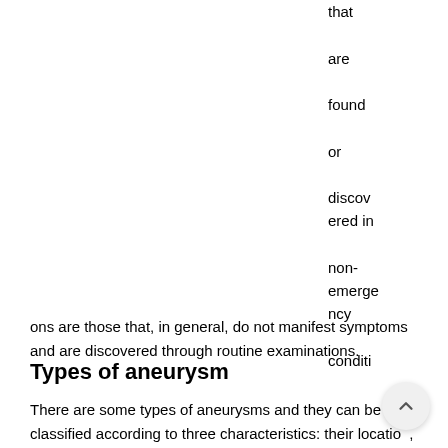that are found or discovered in non-emergency conditions are those that, in general, do not manifest symptoms and are discovered through routine examinations.
Types of aneurysm
There are some types of aneurysms and they can be classified according to three characteristics: their location, their shape and their origin or causative agent. Each